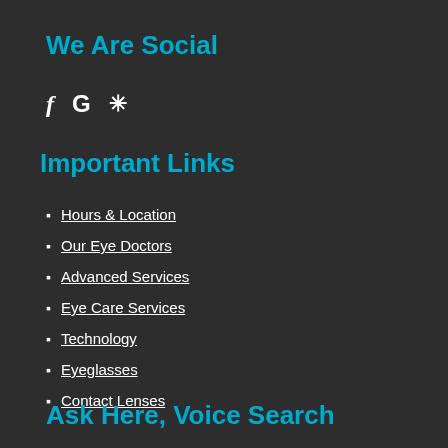We Are Social
[Figure (infographic): Social media icons: Facebook (f), Google (G), Yelp (asterisk/flower symbol)]
Important Links
Hours & Location
Our Eye Doctors
Advanced Services
Eye Care Services
Technology
Eyeglasses
Contact Lenses
Ask Here, Voice Search